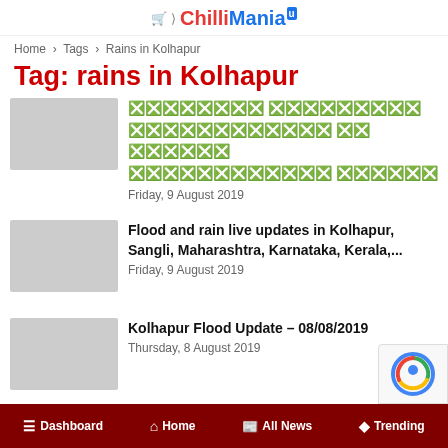ChilliMania
Home › Tags › Rains in Kolhapur
Tag: rains in Kolhapur
🅧🅧🅧🅧🅧🅧🅧🅧 🅧🅧🅧🅧🅧🅧🅧🅧🅧 🅧🅧🅧🅧🅧🅧🅧🅧🅧🅧🅧🅧 🅧🅧 🅧🅧🅧🅧🅧🅧 🅧🅧🅧🅧🅧🅧🅧🅧🅧🅧🅧🅧 🅧🅧🅧🅧🅧🅧
Friday, 9 August 2019
Flood and rain live updates in Kolhapur, Sangli, Maharashtra, Karnataka, Kerala,...
Friday, 9 August 2019
Kolhapur Flood Update – 08/08/2019
Thursday, 8 August 2019
Two more days of heavy rains likely...
Dashboard  Home  All News  Trending